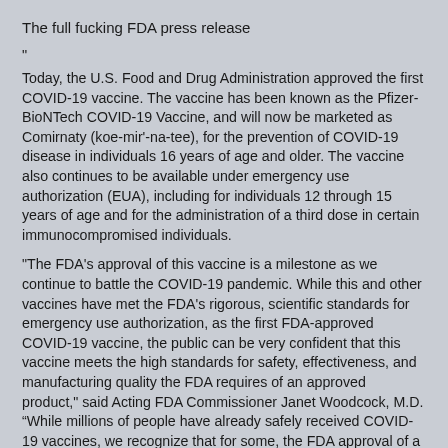The full fucking FDA press release
"
Today, the U.S. Food and Drug Administration approved the first COVID-19 vaccine. The vaccine has been known as the Pfizer-BioNTech COVID-19 Vaccine, and will now be marketed as Comirnaty (koe-mir'-na-tee), for the prevention of COVID-19 disease in individuals 16 years of age and older. The vaccine also continues to be available under emergency use authorization (EUA), including for individuals 12 through 15 years of age and for the administration of a third dose in certain immunocompromised individuals.
"The FDA's approval of this vaccine is a milestone as we continue to battle the COVID-19 pandemic. While this and other vaccines have met the FDA's rigorous, scientific standards for emergency use authorization, as the first FDA-approved COVID-19 vaccine, the public can be very confident that this vaccine meets the high standards for safety, effectiveness, and manufacturing quality the FDA requires of an approved product," said Acting FDA Commissioner Janet Woodcock, M.D. “While millions of people have already safely received COVID-19 vaccines, we recognize that for some, the FDA approval of a vaccine may now instill additional confidence to get vaccinated. Today's milestone puts us one step closer to altering the course of this pandemic in the U.S."